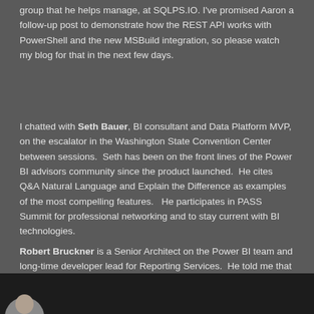group that he helps manage, at SQLPS.IO. I've promised Aaron a follow-up post to demonstrate how the REST API works with PowerShell and the new MSBuild integration, so please watch my blog for that in the next few days.
I chatted with Seth Bauer, BI consultant and Data Platform MVP, on the escalator in the Washington State Convention Center between sessions.  Seth has been on the front lines of the Power BI advisors community since the product launched.  He cites Q&A Natural Language and Explain the Difference as examples of the most compelling features.  He participates in PASS Summit for professional networking and to stay current with BI technologies.
Robert Bruckner is a Senior Architect on the Power BI team and long-time developer lead for Reporting Services.  He told me that there are many exciting capabilities on the horizon for Power BI and other integrated reporting technologies that are still under NDA.  He mentioned a recent announcement that the On-premises gateway will soon support single sign-on, delegation, load balancing and high-availability.  It is truly exciting to see such emphasis on enterprise-scale capabilities for these tools.
[Figure (photo): Dark bar at the bottom of the page showing a partial circular photo/avatar of a person]